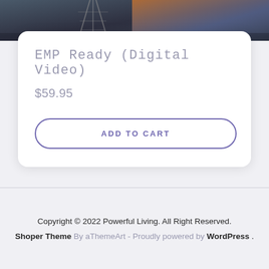[Figure (photo): Partial top of a product image showing a dark scene with a ferris wheel or tower structure and dramatic sky with orange/warm tones on the right side]
EMP Ready (Digital Video)
$59.95
ADD TO CART
Copyright © 2022 Powerful Living. All Right Reserved.
Shoper Theme By aThemeArt - Proudly powered by WordPress .